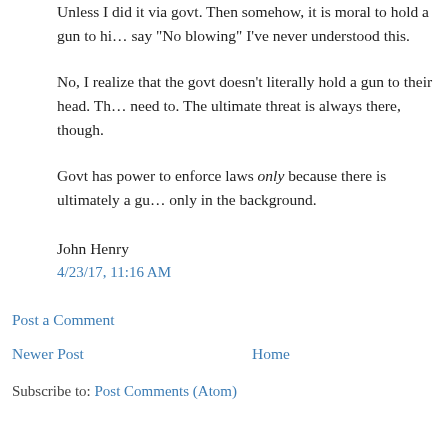Unless I did it via govt. Then somehow, it is moral to hold a gun to his head and say "No blowing" I've never understood this.
No, I realize that the govt doesn't literally hold a gun to their head. The need to. The ultimate threat is always there, though.
Govt has power to enforce laws only because there is ultimately a gun only in the background.
John Henry
4/23/17, 11:16 AM
Post a Comment
Newer Post
Home
Subscribe to: Post Comments (Atom)